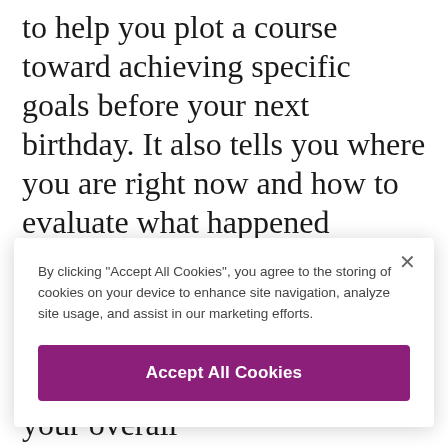to help you plot a course toward achieving specific goals before your next birthday. It also tells you where you are right now and how to evaluate what happened previously. Focus on what you would like to accomplish before then and find out what the next year might
[Figure (screenshot): Cookie consent modal dialog with close button (×), text reading 'By clicking "Accept All Cookies", you agree to the storing of cookies on your device to enhance site navigation, analyze site usage, and assist in our marketing efforts.', and a purple 'Accept All Cookies' button.]
spread, or you may explore your overall